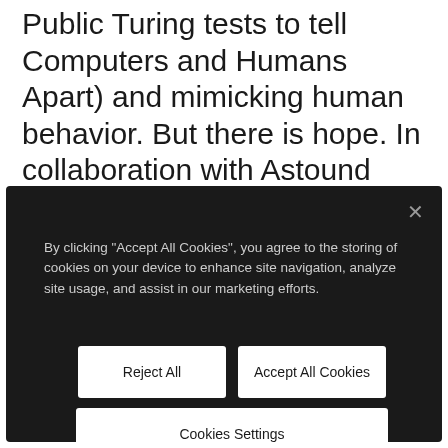Public Turing tests to tell Computers and Humans Apart) and mimicking human behavior. But there is hope. In collaboration with Astound Commerce, F5, a leading provider of applications security and bot protection, recently launched F5 Distributed Cloud Bot Defense with Salesforce Commerce Cloud (SFCC)
By clicking "Accept All Cookies", you agree to the storing of cookies on your device to enhance site navigation, analyze site usage, and assist in our marketing efforts.